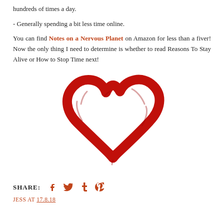hundreds of times a day.
- Generally spending a bit less time online.
You can find Notes on a Nervous Planet on Amazon for less than a fiver! Now the only thing I need to determine is whether to read Reasons To Stay Alive or How to Stop Time next!
[Figure (illustration): A hand-drawn red heart outline illustration on white background]
SHARE: [facebook] [twitter] [tumblr] [pinterest]
JESS AT 17.8.18